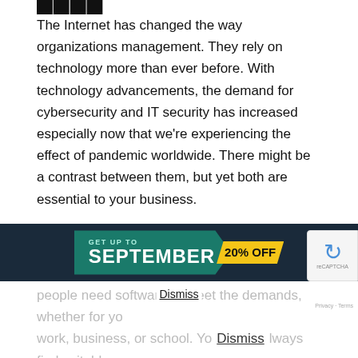The Internet has changed the way organizations management. They rely on technology more than ever before. With technology advancements, the demand for cybersecurity and IT security has increased especially now that we're experiencing the effect of pandemic worldwide. There might be a contrast between them, but yet both are essential to your business.
By understanding the difference between IT security and cybersecurity, businesses can protect themselves from all types of attacks and create a robust protection management program.
In this time in which most businesses are switching online, we need the best tools to keep up. For instance, students and people need software to meet the demands, whether for your work, business, or school. You can always find suitable software products to help you meet your daily needs. Softvire got you!
[Figure (other): Promotional banner overlay: 'GET UP TO 20% OFF SEPTEMBER' in teal/green with yellow discount badge, displayed over dark navy background]
Dismiss